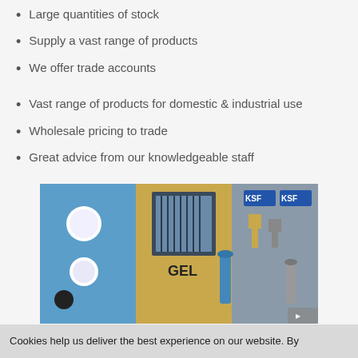Large quantities of stock
Supply a vast range of products
We offer trade accounts
Vast range of products for domestic & industrial use
Wholesale pricing to trade
Great advice from our knowledgeable staff
[Figure (photo): Interior of a lighting showroom displaying various light fixtures and KSF branded displays]
Cookies help us deliver the best experience on our website. By